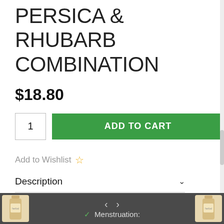PERSICA & RHUBARB COMBINATION
$18.80
1  ADD TO CART
Add to Wishlist ☆
Description
Tao He Cheng Qi Tang
Good for:
< >  ✓ Menstruation: